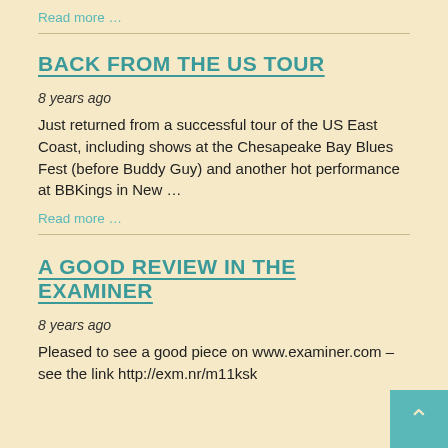Read more …
BACK FROM THE US TOUR
8 years ago
Just returned from a successful tour of the US East Coast, including shows at the Chesapeake Bay Blues Fest (before Buddy Guy) and another hot performance at BBKings in New …
Read more …
A GOOD REVIEW IN THE EXAMINER
8 years ago
Pleased to see a good piece on www.examiner.com – see the link http://exm.nr/m11ksk